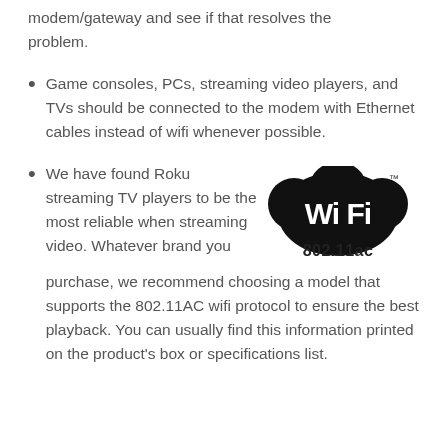modem/gateway and see if that resolves the problem.
Game consoles, PCs, streaming video players, and TVs should be connected to the modem with Ethernet cables instead of wifi whenever possible.
We have found Roku streaming TV players to be the most reliable when streaming video. Whatever brand you purchase, we recommend choosing a model that supports the 802.11AC wifi protocol to ensure the best playback. You can usually find this information printed on the product's box or specifications list.
[Figure (logo): Wi-Fi 802.11ac certification logo — black rounded rectangle with 'Wi Fi' text in white, and '802.11ac' label below]